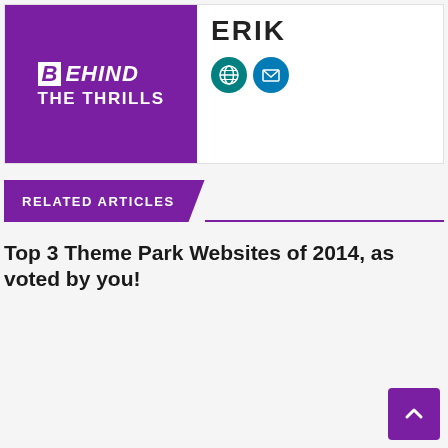[Figure (logo): Behind The Thrills logo — white B in box, BEHIND in white italic bold, THE THRILLS below, on purple background]
ERIK
[Figure (illustration): Globe icon (teal circle) and envelope/email icon (blue circle)]
RELATED ARTICLES
Top 3 Theme Park Websites of 2014, as voted by you!